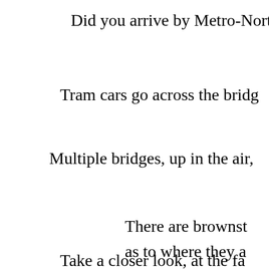Did you arrive by Metro-North? Th
Tram cars go across the bridg
Multiple bridges, up in the air,
There are brownst
as to where they a
Take a closer look, at the fa